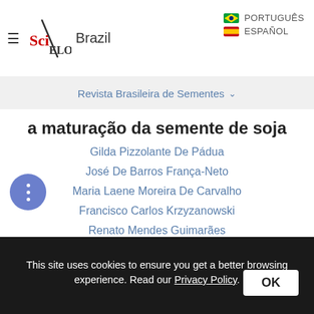SciELO Brazil — PORTUGUÊS / ESPAÑOL
Revista Brasileira de Sementes
a maturação da semente de soja
Gilda Pizzolante De Pádua
José De Barros França-Neto
Maria Laene Moreira De Carvalho
Francisco Carlos Krzyzanowski
Renato Mendes Guimarães
ABOUT THE AUTHORS
This site uses cookies to ensure you get a better browsing experience. Read our Privacy Policy.